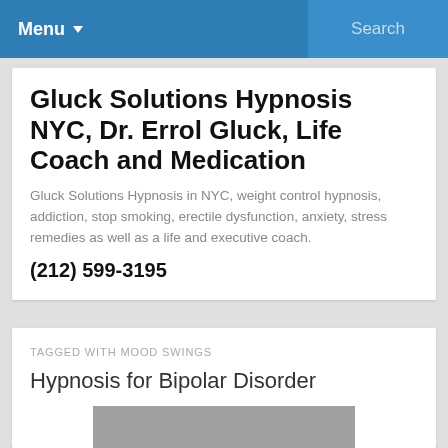Menu ▾   Search
Gluck Solutions Hypnosis NYC, Dr. Errol Gluck, Life Coach and Medication
Gluck Solutions Hypnosis in NYC, weight control hypnosis, addiction, stop smoking, erectile dysfunction, anxiety, stress remedies as well as a life and executive coach.
(212) 599-3195
TAGGED WITH MOOD SWINGS
Hypnosis for Bipolar Disorder
[Figure (photo): Gray image placeholder with text 'BIPOLAR' partially visible]